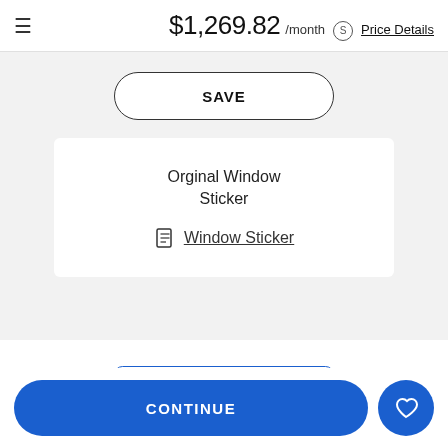$1,269.82 /month  Price Details
SAVE
Orginal Window Sticker
Window Sticker
HAVE A QUESTION?
Call
CONTINUE